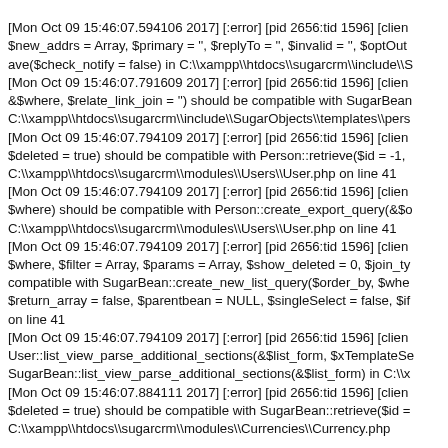[Mon Oct 09 15:46:07.594106 2017] [:error] [pid 2656:tid 1596] [client $new_addrs = Array, $primary = '', $replyTo = '', $invalid = '', $optOut ave($check_notify = false) in C:\xampp\htdocs\sugarcrm\include\S [Mon Oct 09 15:46:07.791609 2017] [:error] [pid 2656:tid 1596] [client &$where, $relate_link_join = '') should be compatible with SugarBean C:\xampp\htdocs\sugarcrm\include\SugarObjects\templates\pers [Mon Oct 09 15:46:07.794109 2017] [:error] [pid 2656:tid 1596] [client $deleted = true) should be compatible with Person::retrieve($id = -1, C:\xampp\htdocs\sugarcrm\modules\Users\User.php on line 41 [Mon Oct 09 15:46:07.794109 2017] [:error] [pid 2656:tid 1596] [client $where) should be compatible with Person::create_export_query(&$o C:\xampp\htdocs\sugarcrm\modules\Users\User.php on line 41 [Mon Oct 09 15:46:07.794109 2017] [:error] [pid 2656:tid 1596] [client $where, $filter = Array, $params = Array, $show_deleted = 0, $join_ty compatible with SugarBean::create_new_list_query($order_by, $whe $return_array = false, $parentbean = NULL, $singleSelect = false, $if on line 41 [Mon Oct 09 15:46:07.794109 2017] [:error] [pid 2656:tid 1596] [client User::list_view_parse_additional_sections(&$list_form, $xTemplateSe SugarBean::list_view_parse_additional_sections(&$list_form) in C:\x [Mon Oct 09 15:46:07.884111 2017] [:error] [pid 2656:tid 1596] [client $deleted = true) should be compatible with SugarBean::retrieve($id = C:\xampp\htdocs\sugarcrm\modules\Currencies\Currency.php